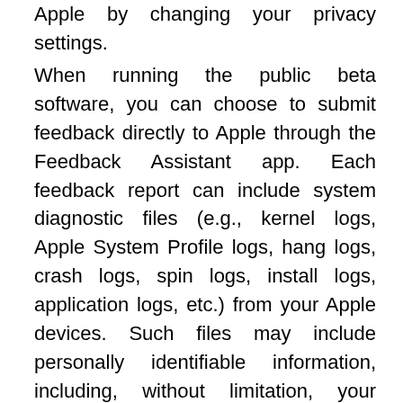Apple by changing your privacy settings.
When running the public beta software, you can choose to submit feedback directly to Apple through the Feedback Assistant app. Each feedback report can include system diagnostic files (e.g., kernel logs, Apple System Profile logs, hang logs, crash logs, spin logs, install logs, application logs, etc.) from your Apple devices. Such files may include personally identifiable information, including, without limitation, your account name, information regarding your contacts, calendar events, and email correspondence. Providing these system diagnostic files is voluntary, but if you do provide them to Apple, then you acknowledge and agree that you have obtained the necessary rights and consents to provide such information to Apple and that Apple may use them for Apple's diagnostic purposes and to